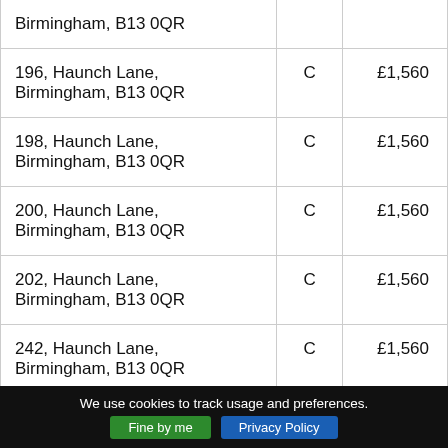| Birmingham, B13 0QR |  |  |
| 196, Haunch Lane,
Birmingham, B13 0QR | C | £1,560 |
| 198, Haunch Lane,
Birmingham, B13 0QR | C | £1,560 |
| 200, Haunch Lane,
Birmingham, B13 0QR | C | £1,560 |
| 202, Haunch Lane,
Birmingham, B13 0QR | C | £1,560 |
| 242, Haunch Lane,
Birmingham, B13 0QR | C | £1,560 |
| 244, Haunch Lane,
Birmingham, B13 0QR | C | £1,560 |
We use cookies to track usage and preferences.
Fine by me   Privacy Policy